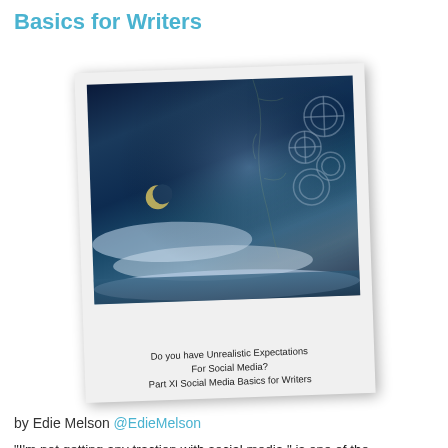Basics for Writers
[Figure (photo): A Polaroid-style photograph showing a fantasy night-time scene with a crescent moon, glowing clouds, waterfalls, and mechanical/clockwork elements in the upper right. The Polaroid has a handwritten caption reading: 'Do you have Unrealistic Expectations For Social Media? Part XI Social Media Basics for Writers']
by Edie Melson @EdieMelson
“I’m not getting any traction with social media,” is one of the complaints I hear a lot as I travel and teach writers how to